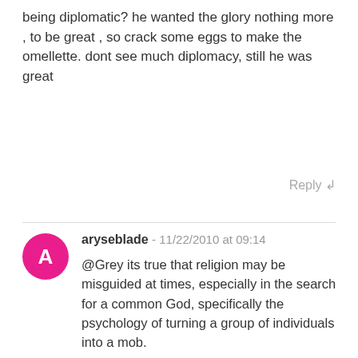being diplomatic? he wanted the glory nothing more , to be great , so crack some eggs to make the omellette. dont see much diplomacy, still he was great
Reply ↲
aryseblade - 11/22/2010 at 09:14
@Grey its true that religion may be misguided at times, especially in the search for a common God, specifically the psychology of turning a group of individuals into a mob.

Yes, it may be true that Rome was established on the concept of conquest... Read your history or mythology and you will find that to be absolutely true, but done attack Alexander, who assimilated most of the cultures he found reign over. Generally speaking, the great majority of his conquests were diplomatic, not